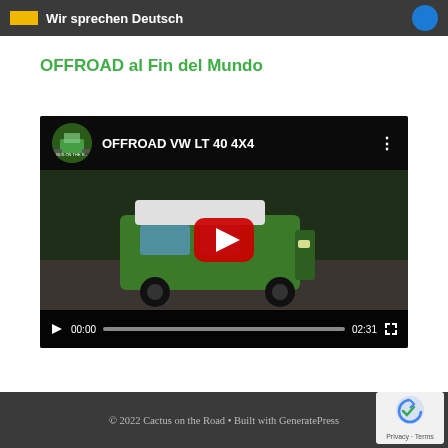Wir sprechen Deutsch
OFFROAD al Fin del Mundo
[Figure (screenshot): YouTube video embed showing 'OFFROAD VW LT 40 4X4' with a green VW van on a dirt road, video duration 02:31, paused at 00:00]
© 2022 Cactus on the Road • Built with GeneratePress